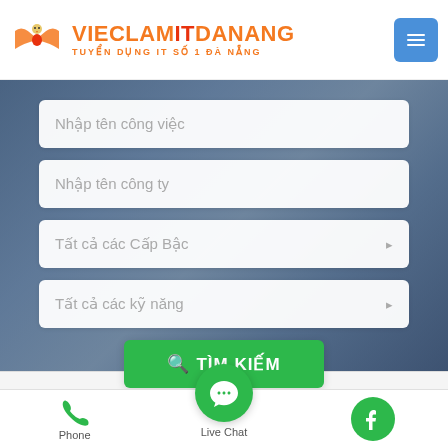[Figure (logo): VieclamITDanang logo with orange bird icon and text VIECLAMITDANANG, subtitle TUYEN DUNG IT SO 1 DA NANG]
Nhập tên công việc
Nhập tên công ty
Tất cả các Cấp Bậc
Tất cả các kỹ năng
🔍 TÌM KIẾM
Phone
Live Chat
Facebook